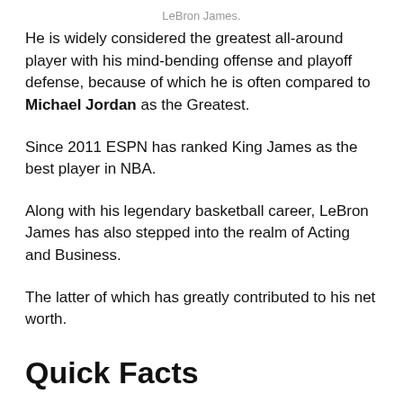LeBron James.
He is widely considered the greatest all-around player with his mind-bending offense and playoff defense, because of which he is often compared to Michael Jordan as the Greatest.
Since 2011 ESPN has ranked King James as the best player in NBA.
Along with his legendary basketball career, LeBron James has also stepped into the realm of Acting and Business.
The latter of which has greatly contributed to his net worth.
Quick Facts